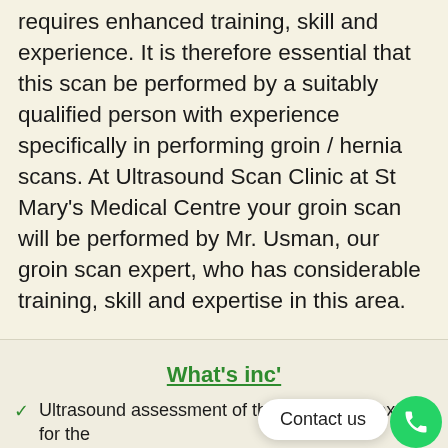requires enhanced training, skill and experience. It is therefore essential that this scan be performed by a suitably qualified person with experience specifically in performing groin / hernia scans. At Ultrasound Scan Clinic at St Mary's Medical Centre your groin scan will be performed by Mr. Usman, our groin scan expert, who has considerable training, skill and expertise in this area.
What's inc'
Ultrasound assessment of the groin by an expert for the